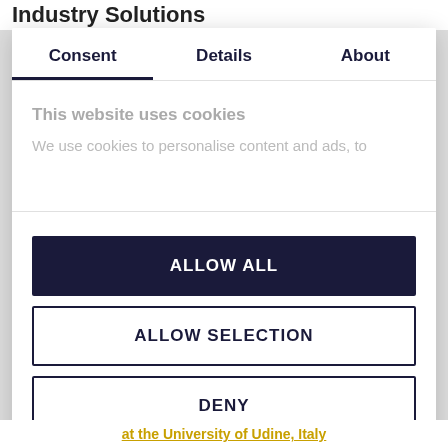Industry Solutions
Consent	Details	About
This website uses cookies
We use cookies to personalise content and ads, to
ALLOW ALL
ALLOW SELECTION
DENY
Powered by Cookiebot by Usercentrics
at the University of Udine, Italy